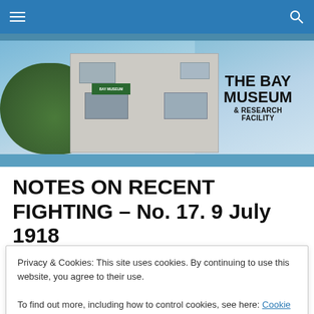THE BAY MUSEUM & RESEARCH FACILITY
[Figure (photo): Photo of a white multi-story building (The Bay Museum & Research Facility) with trees in foreground and cloudy sky background. Text overlay reads 'THE BAY MUSEUM & RESEARCH FACILITY']
NOTES ON RECENT FIGHTING – No. 17. 9 July 1918
Privacy & Cookies: This site uses cookies. By continuing to use this website, you agree to their use.
To find out more, including how to control cookies, see here: Cookie Policy
Close and accept
179